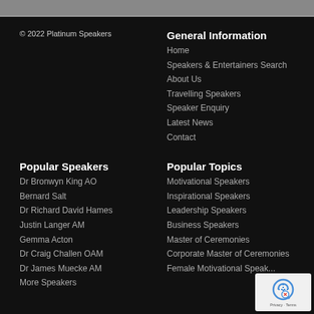© 2022 Platinum Speakers
General Information
Home
Speakers & Entertainers Search
About Us
Travelling Speakers
Speaker Enquiry
Latest News
Contact
Popular Speakers
Popular Topics
Dr Bronwyn King AO
Motivational Speakers
Bernard Salt
Inspirational Speakers
Dr Richard David Hames
Leadership Speakers
Justin Langer AM
Business Speakers
Gemma Acton
Master of Ceremonies
Dr Craig Challen OAM
Corporate Master of Ceremonies
Dr James Muecke AM
Female Motivational Speak...
More Speakers
[Figure (logo): reCAPTCHA logo with Privacy - Terms text]